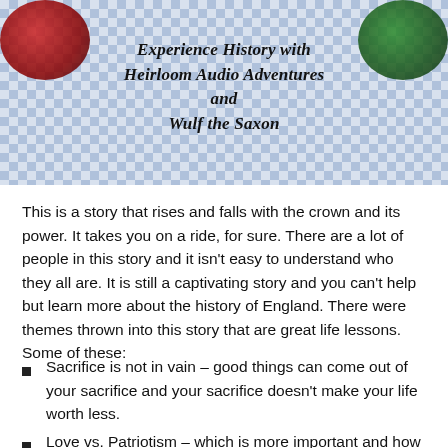[Figure (photo): Photo of audio CDs/books on a blue and white checkered tablecloth with text overlay reading 'Experience History with Heirloom Audio Adventures and Wulf the Saxon']
This is a story that rises and falls with the crown and its power. It takes you on a ride, for sure. There are a lot of people in this story and it isn't easy to understand who they all are. It is still a captivating story and you can't help but learn more about the history of England. There were themes thrown into this story that are great life lessons. Some of these:
Sacrifice is not in vain – good things can come out of your sacrifice and your sacrifice doesn't make your life worth less.
Love vs. Patriotism – which is more important and how